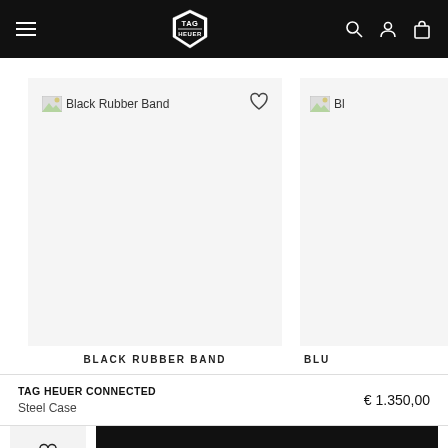TAG HEUER navigation bar with hamburger menu, logo, search, account, and cart icons
[Figure (screenshot): Product card showing Black Rubber Band watch strap with broken image placeholder and heart/wishlist icon]
BLACK RUBBER BAND
[Figure (screenshot): Partial product card showing BLU... (Blue) watch strap with broken image placeholder]
BLU
TAG HEUER CONNECTED
Steel Case
€ 1.350,00
ADD TO CART